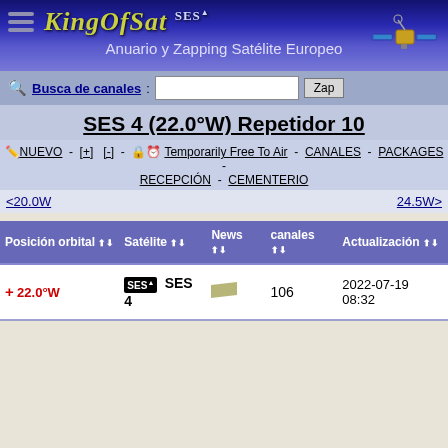KingOfSat SES - Anuario y Zapping Satélite Europeo
Busca de canales: [input] Zap
SES 4 (22.0°W) Repetidor 10
NUEVO - [+] [-] - Temporarily Free To Air - CANALES - PACKAGES - RECEPCIÓN - CEMENTERIO
<20.0W   24.5W>
| Posición orbital | Satélite | News | canales | Actualización |
| --- | --- | --- | --- | --- |
| + 22.0°W | SES 4 |  | 106 | 2022-07-19 08:32 |